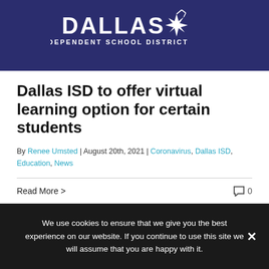[Figure (logo): Dallas Independent School District logo — white text DALLAS with a starburst icon above, INDEPENDENT SCHOOL DISTRICT below, on dark navy background]
Dallas ISD to offer virtual learning option for certain students
By Renee Umsted | August 20th, 2021 | Coronavirus, Dallas ISD, Education, News
Read More >
We use cookies to ensure that we give you the best experience on our website. If you continue to use this site we will assume that you are happy with it.